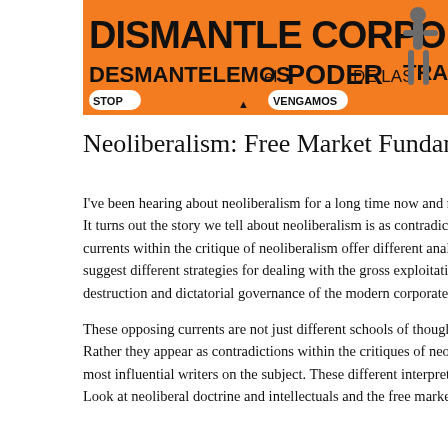[Figure (photo): Orange protest banner reading 'DISMANTLE CORPORATE POWER' and 'DESMANTELEMOS EL PODER DE LAS TRANSNACIONALES' with 'STOP' and 'VENGAMOS' text at bottom]
Neoliberalism: Free Market Fundamentalis
I've been hearing about neoliberalism for a long time now and n It turns out the story we tell about neoliberalism is as contradict currents within the critique of neoliberalism offer different analy suggest different strategies for dealing with the gross exploitatio destruction and dictatorial governance of the modern corporate
These opposing currents are not just different schools of though Rather they appear as contradictions within the critiques of neol most influential writers on the subject. These different interpreta Look at neoliberal doctrine and intellectuals and the free market